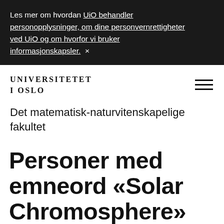Les mer om hvordan UiO behandler personopplysninger, om dine personvernrettigheter ved UiO og om hvorfor vi bruker informasjonskapsler.  ×
[Figure (logo): Universitetet i Oslo logo text in serif uppercase letters]
Det matematisk-naturvitenskapelige fakultet
Personer med emneord «Solar Chromosphere»